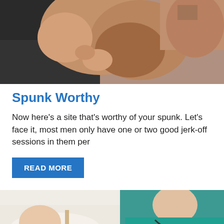[Figure (photo): Two men in an intimate embrace, one appearing to kiss the other's hand or chest area, photographed against a dark background.]
Spunk Worthy
Now here's a site that's worthy of your spunk. Let's face it, most men only have one or two good jerk-off sessions in them per
READ MORE
[Figure (photo): Two men photographed together, one lying down and one wearing a teal/turquoise shirt, in a close-up shot.]